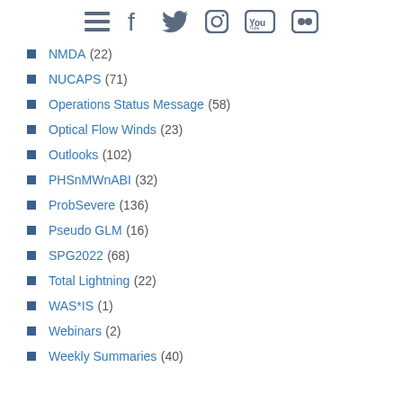[social media icons: menu, facebook, twitter, instagram, youtube, flickr]
NMDA (22)
NUCAPS (71)
Operations Status Message (58)
Optical Flow Winds (23)
Outlooks (102)
PHSnMWnABI (32)
ProbSevere (136)
Pseudo GLM (16)
SPG2022 (68)
Total Lightning (22)
WAS*IS (1)
Webinars (2)
Weekly Summaries (40)